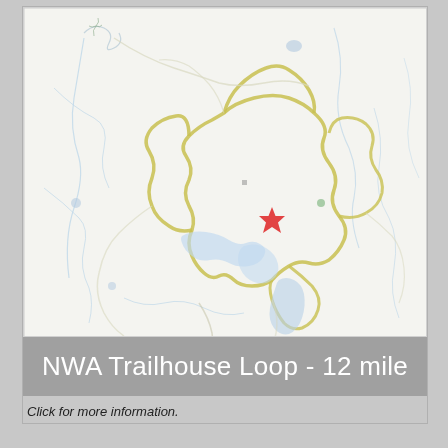[Figure (map): Topographic trail map showing the NWA Trailhouse Loop route highlighted in olive/yellow-green color, with a red star marker indicating a trailhead or point of interest near the center of the map. Blue water features (a lake/reservoir) are visible in the lower-center area. Light blue lines indicate streams and roads across a pale background terrain map.]
NWA Trailhouse Loop - 12 mile
Click for more information.